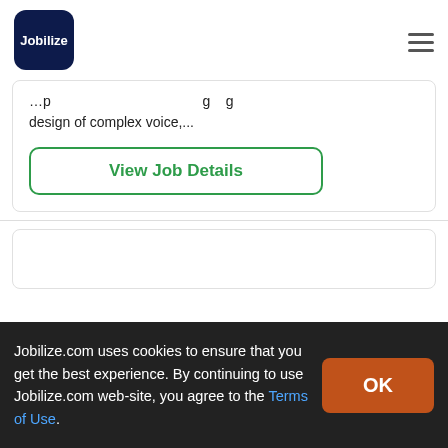Jobilize
design of complex voice,...
View Job Details
Jobilize.com uses cookies to ensure that you get the best experience. By continuing to use Jobilize.com web-site, you agree to the Terms of Use.